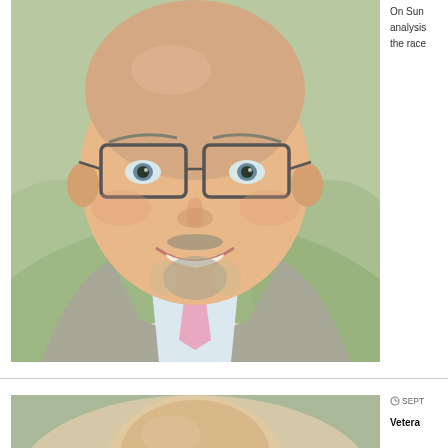[Figure (photo): Headshot of a middle-aged bald man with glasses, goatee, wearing a grey suit jacket, light blue shirt, and pink tie. He is smiling. Background is blurred green/outdoor.]
On Sun... analysis... the race...
[Figure (photo): Partial headshot of a person, top of head visible, outdoors blurred background.]
SEPT...
Vetera...